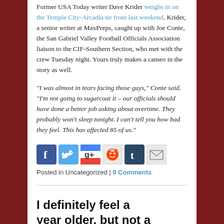Former USA Today writer Dave Krider weighs in on the Temple City-Arcadia tie from last weekend. Krider, a senior writer at MaxPreps, caught up with Joe Conte, the San Gabriel Valley Football Officials Association liaison to the CIF-Southern Section, who met with the crew Tuesday night. Yours truly makes a cameo in the story as well.
“I was almost in tears facing those guys,” Conte said. “I’m not going to sugarcoat it – our officials should have done a better job asking about overtime. They probably won’t sleep tonight. I can’t tell you how bad they feel. This has affected 85 of us.”
[Figure (other): Social sharing icons: Facebook, Twitter, Google+, Reddit, Tumblr, Email]
Posted in Uncategorized | 9 Comments
I definitely feel a year older, but not a year wiser
Posted on September 30, 2009 by Miguel